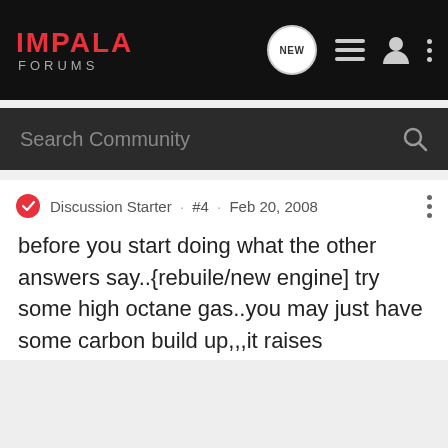IMPALA FORUMS
Search Community
Discussion Starter · #4 · Feb 20, 2008
before you start doing what the other answers say..{rebuile/new engine] try some high octane gas..you may just have some carbon build up,,,it raises compression causing pinging....i assume its tuned up...right? right?